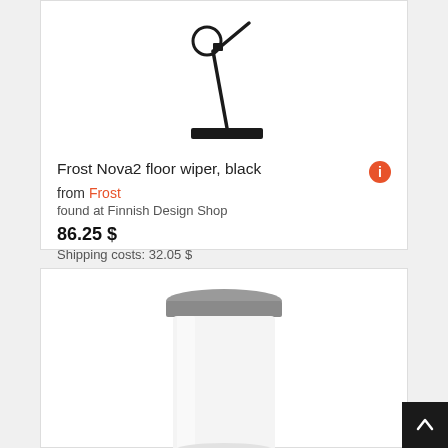[Figure (photo): Frost Nova2 floor wiper in black — elongated handle with ring hook and T-shaped rubber wiper head at bottom]
Frost Nova2 floor wiper, black
from Frost
found at Finnish Design Shop
86.25 $
Shipping costs: 32.05 $
[Figure (photo): White cylindrical trash can with a silver/grey metallic lid, partially visible]